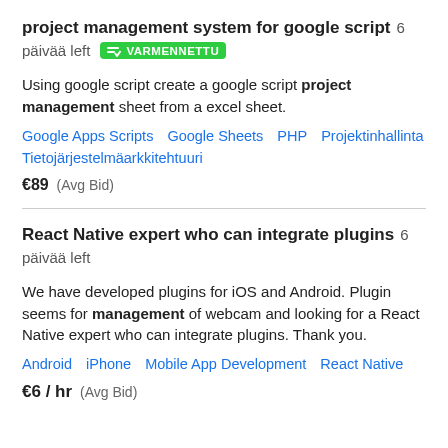project management system for google script  6 päivää left  VARMENNETTU
Using google script create a google script project management sheet from a excel sheet.
Google Apps Scripts   Google Sheets   PHP   Projektinhallinta   Tietojärjestelmäarkkitehtuuri
€89  (Avg Bid)
React Native expert who can integrate plugins  6 päivää left
We have developed plugins for iOS and Android. Plugin seems for management of webcam and looking for a React Native expert who can integrate plugins. Thank you.
Android   iPhone   Mobile App Development   React Native
€6 / hr  (Avg Bid)